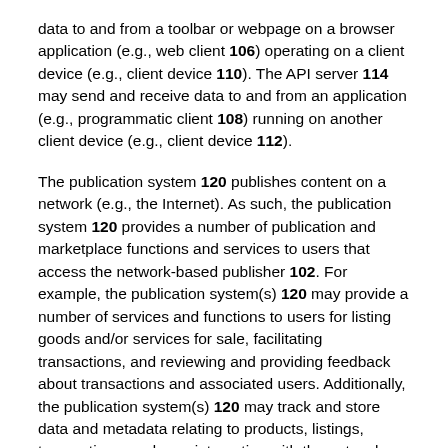data to and from a toolbar or webpage on a browser application (e.g., web client 106) operating on a client device (e.g., client device 110). The API server 114 may send and receive data to and from an application (e.g., programmatic client 108) running on another client device (e.g., client device 112).
The publication system 120 publishes content on a network (e.g., the Internet). As such, the publication system 120 provides a number of publication and marketplace functions and services to users that access the network-based publisher 102. For example, the publication system(s) 120 may provide a number of services and functions to users for listing goods and/or services for sale, facilitating transactions, and reviewing and providing feedback about transactions and associated users. Additionally, the publication system(s) 120 may track and store data and metadata relating to products, listings, transactions, and user interaction with the network-based publisher 102. The publication system(s) 120 may aggregate the tracked data and metadata to perform data mining to identify trends or patterns in the data. The publication system 120 is discussed in more